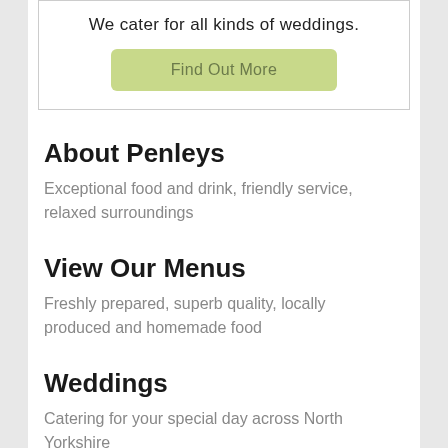We cater for all kinds of weddings.
[Figure (other): Green button labeled 'Find Out More']
About Penleys
Exceptional food and drink, friendly service, relaxed surroundings
View Our Menus
Freshly prepared, superb quality, locally produced and homemade food
Weddings
Catering for your special day across North Yorkshire